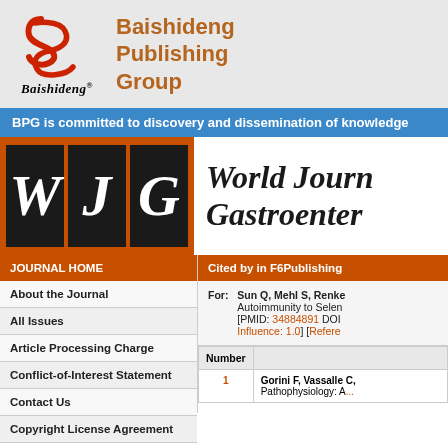[Figure (logo): Baishideng Publishing Group logo with red stylized S icon and italic Baishideng text, alongside orange-brown BPG title text]
BPG is committed to discovery and dissemination of knowledge
[Figure (logo): World Journal of Gastroenterology (WJG) journal banner with W, J, G letters in dark boxes on orange background]
JOURNAL HOME
Cited by in F6Publishing
About the Journal
All Issues
Article Processing Charge
Conflict-of-Interest Statement
Contact Us
Copyright License Agreement
For: Sun Q, Mehl S, Renke... Autoimmunity to Selen... [PMID: 34884891 DOI... Influence: 1.0] [Refere...
| Number |  |
| --- | --- |
| 1 | Gorini F, Vassalle C,
Pathophysiology: A... |